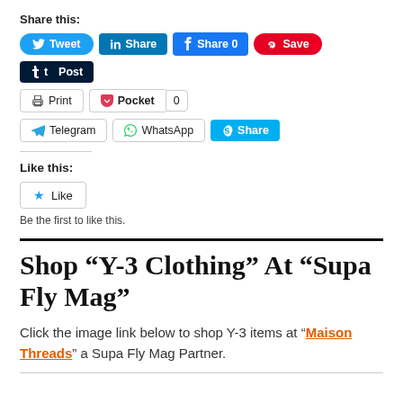Share this:
[Figure (screenshot): Social share buttons row: Tweet, Share (LinkedIn), Share 0 (Facebook), Save (Pinterest), Post (Tumblr)]
[Figure (screenshot): Share buttons row 2: Print, Pocket 0]
[Figure (screenshot): Share buttons row 3: Telegram, WhatsApp, Share (Skype)]
Like this:
[Figure (screenshot): Like button widget]
Be the first to like this.
Shop “Y-3 Clothing” At “Supa Fly Mag”
Click the image link below to shop Y-3 items at “Maison Threads” a Supa Fly Mag Partner.